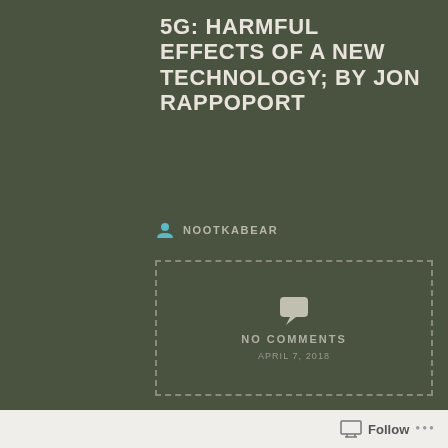5G: HARMFUL EFFECTS OF A NEW TECHNOLOGY; BY JON RAPPOPORT
NOOTKABEAR
[Figure (other): Dashed border box with speech bubble icon, text NO COMMENTS, and date APRIL 7, 2018]
[Figure (other): Star rating row with 5 stars and Rate This label; thumbnail image; article title 5G: Harmful effects of a new technology; date Mar 26]
Follow